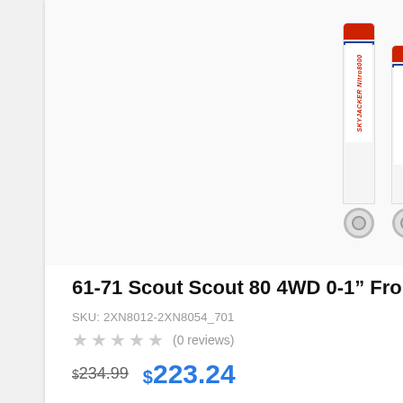[Figure (photo): Four Skyjacker Nitro shock absorbers with white bodies, red tops, and blue accent stripes, showing the mounting rings at the bottom]
61-71 Scout Scout 80 4WD 0-1″ Front, 0-1″ Rear Lift Skyjacker Nitro Shocks
SKU: 2XN8012-2XN8054_701
(0 reviews)
$234.99  $223.24